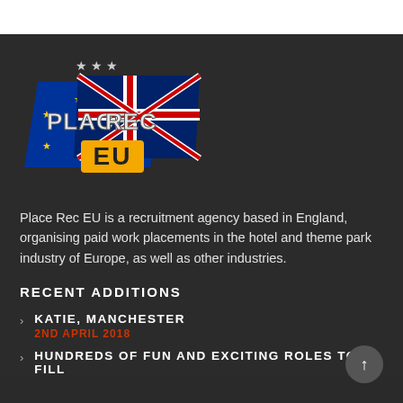[Figure (logo): Place Rec EU logo — two overlapping flags (EU blue with yellow stars and UK red/white/blue), with text 'PLACE REC' in grey metallic style and 'EU' in bold orange/yellow below, three grey stars above]
Place Rec EU is a recruitment agency based in England, organising paid work placements in the hotel and theme park industry of Europe, as well as other industries.
RECENT ADDITIONS
KATIE, MANCHESTER
2ND APRIL 2018
HUNDREDS OF FUN AND EXCITING ROLES TO FILL